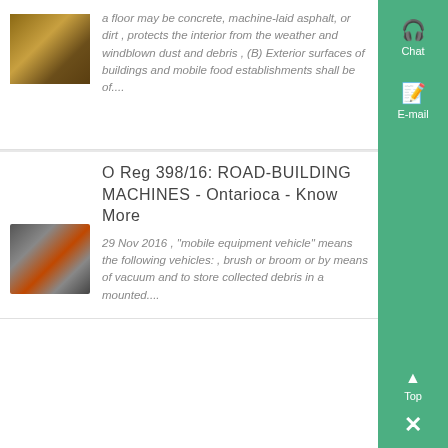[Figure (photo): Photo of wooden shelving or floor material in a building interior]
a floor may be concrete, machine-laid asphalt, or dirt , protects the interior from the weather and windblown dust and debris , (B) Exterior surfaces of buildings and mobile food establishments shall be of....
[Figure (photo): Photo of industrial road-building machinery with orange components]
O Reg 398/16: ROAD-BUILDING MACHINES - Ontarioca - Know More
29 Nov 2016 , "mobile equipment vehicle" means the following vehicles: , brush or broom or by means of vacuum and to store collected debris in a mounted....